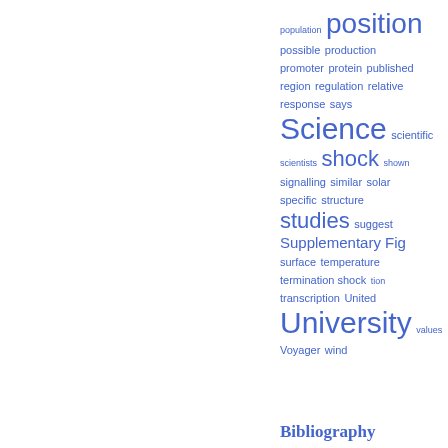[Figure (infographic): Word cloud (tag cloud) showing scientific/academic terms in varying font sizes, all in blue, arranged in rows on the right side of the page. Terms include population, position, possible, production, promoter, protein, published, region, regulation, relative, response, says, Science, scientific, scientists, shock, shown, signalling, similar, solar, specific, structure, studies, suggest, Supplementary Fig, surface, temperature, termination shock, tion, transcription, United, University, values, Voyager, wind]
Bibliography